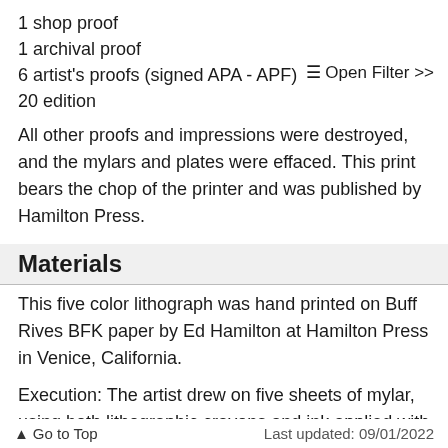1 shop proof
1 archival proof
6 artist's proofs (signed APA - APF)
20 edition
☰ Open Filter >>
All other proofs and impressions were destroyed, and the mylars and plates were effaced. This print bears the chop of the printer and was published by Hamilton Press.
Materials
This five color lithograph was hand printed on Buff Rives BFK paper by Ed Hamilton at Hamilton Press in Venice, California.
Execution: The artist drew on five sheets of mylar, using both lithographic crayons and ink applied with a brush. These drawings were used for transfers to positive
↑ Go to Top    Last updated: 09/01/2022